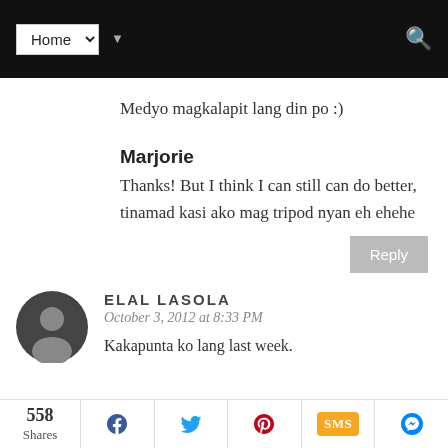Home (navigation dropdown)
Medyo magkalapit lang din po :)
Marjorie
Thanks! But I think I can still can do better, tinamad kasi ako mag tripod nyan eh ehehe
ELAL LASOLA
October 3, 2012 at 8:33 PM
Kakapunta ko lang last week.
558 Shares | Facebook | Twitter | Pinterest | SMS | Messenger